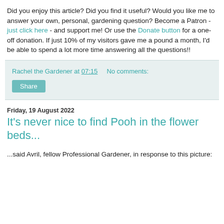Did you enjoy this article? Did you find it useful? Would you like me to answer your own, personal, gardening question? Become a Patron - just click here - and support me! Or use the Donate button for a one-off donation. If just 10% of my visitors gave me a pound a month, I'd be able to spend a lot more time answering all the questions!!
Rachel the Gardener at 07:15   No comments:
Share
Friday, 19 August 2022
It's never nice to find Pooh in the flower beds...
...said Avril, fellow Professional Gardener, in response to this picture: